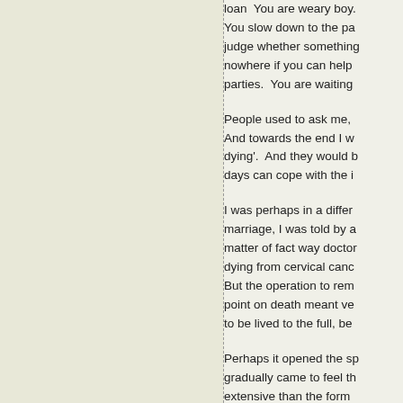loan  You are weary boy. You slow down to the pa judge whether something nowhere if you can help parties.  You are waiting
People used to ask me, And towards the end I w dying'.  And they would b days can cope with the i
I was perhaps in a differ marriage, I was told by a matter of fact way doctor dying from cervical canc But the operation to rem point on death meant ve to be lived to the full, be
Perhaps it opened the sp gradually came to feel th extensive than the form